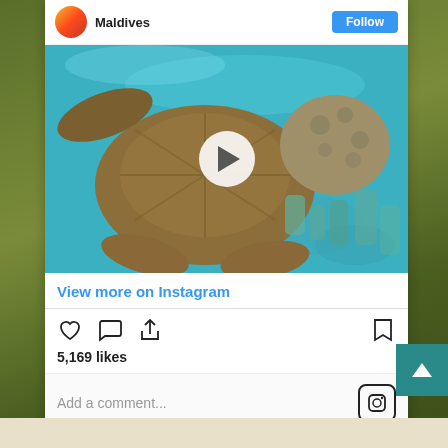[Figure (screenshot): Instagram post card showing a sea turtle underwater video thumbnail with play button. The card shows username 'Maldives', a Follow button, a video thumbnail of a sea turtle swimming near coral reef with a white play button overlay, a 'View more on Instagram' link, action icons (like, comment, share, bookmark), '5,169 likes' text, an 'Add a comment...' input area, and an Instagram logo icon. A teal back-to-top button with a chevron/arrow is visible in the bottom right.]